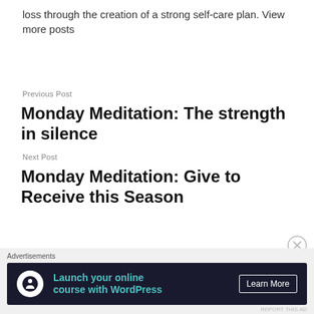loss through the creation of a strong self-care plan. View more posts
Previous Post
Monday Meditation: The strength in silence
Next Post
Monday Meditation: Give to Receive this Season
[Figure (other): Close/dismiss button (circled X)]
Advertisements
[Figure (infographic): Advertisement banner: dark background with WordPress online course logo icon, teal text 'Launch your online course with WordPress', and 'Learn More' button]